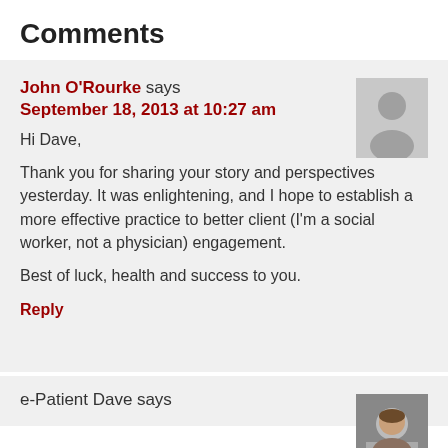Comments
John O'Rourke says
September 18, 2013 at 10:27 am
Hi Dave,
Thank you for sharing your story and perspectives yesterday. It was enlightening, and I hope to establish a more effective practice to better client (I'm a social worker, not a physician) engagement.
Best of luck, health and success to you.
Reply
e-Patient Dave says